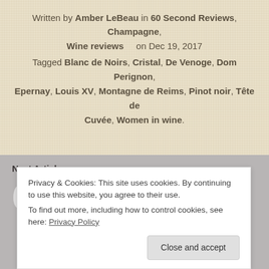Written by Amber LeBeau in 60 Second Reviews, Champagne, Wine reviews on Dec 19, 2017
Tagged Blanc de Noirs, Cristal, De Venoge, Dom Perignon, Epernay, Louis XV, Montagne de Reims, Pinot noir, Tête de Cuvée, Women in wine.
Next Article
60 Second
Privacy & Cookies: This site uses cookies. By continuing to use this website, you agree to their use. To find out more, including how to control cookies, see here: Privacy Policy